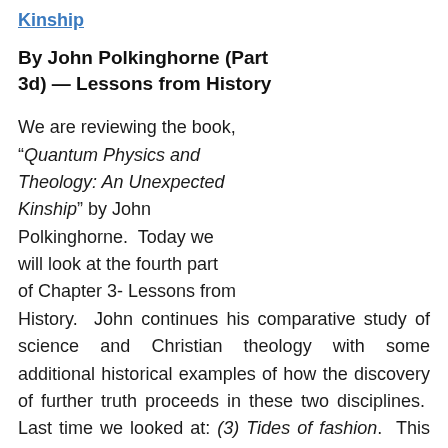Kinship
By John Polkinghorne (Part 3d) — Lessons from History
We are reviewing the book, “Quantum Physics and Theology: An Unexpected Kinship” by John Polkinghorne.  Today we will look at the fourth part of Chapter 3- Lessons from History.  John continues his comparative study of science and Christian theology with some additional historical examples of how the discovery of further truth proceeds in these two disciplines.  Last time we looked at: (3) Tides of fashion.  This week we look at: